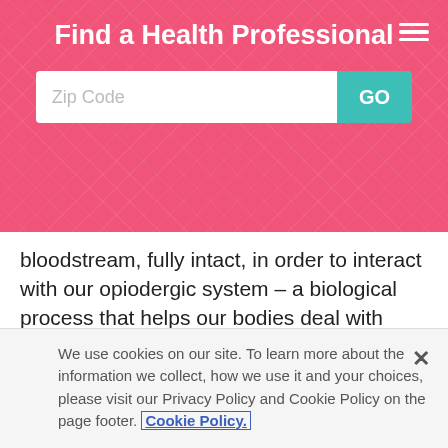Find a Health Professional
bloodstream, fully intact, in order to interact with our opiodergic system – a biological process that helps our bodies deal with stress and identify behavior that is relatively in our best interest. Alcohol, cocaine, tobacco and even exercise all interact with this system to generate addiction. Another Wheat Belly skeptic and elite endurance athlete, Mark Sission, plunged into research in search of whether or not wheat met these requirements. His findings were inconclusive. Simulations of the human gut have
We use cookies on our site. To learn more about the information we collect, how we use it and your choices, please visit our Privacy Policy and Cookie Policy on the page footer. Cookie Policy.